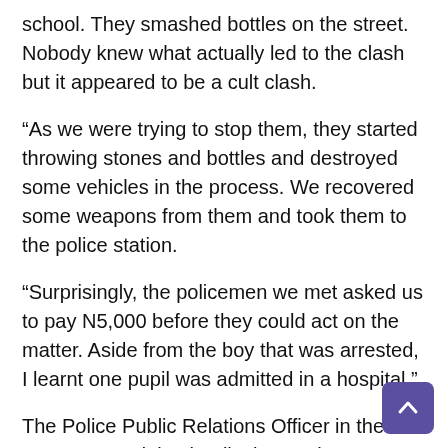school. They smashed bottles on the street. Nobody knew what actually led to the clash but it appeared to be a cult clash.
“As we were trying to stop them, they started throwing stones and bottles and destroyed some vehicles in the process. We recovered some weapons from them and took them to the police station.
“Surprisingly, the policemen we met asked us to pay N5,000 before they could act on the matter. Aside from the boy that was arrested, I learnt one pupil was admitted in a hospital.”
The Police Public Relations Officer in the state, CSP Adekunle Ajisebutu, who confirmed the clash, said operatives were promptly deployed in the area and normalcy was restored, adding that two vehicles were damaged and one suspect arrested.
He said the claim that N5,000 was demanded from the